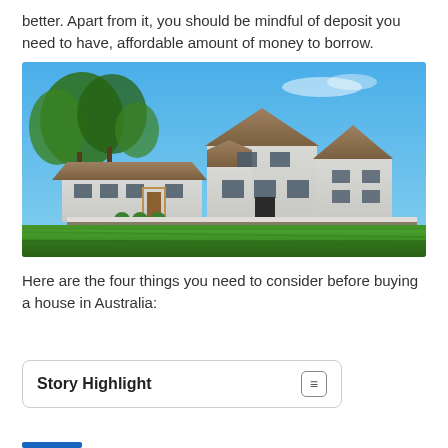better. Apart from it, you should be mindful of deposit you need to have, affordable amount of money to borrow.
[Figure (photo): Photograph of a white residential house with gabled roof and gray shingles, surrounded by green lawn and trees under a blue sky.]
Here are the four things you need to consider before buying a house in Australia:
Story Highlight